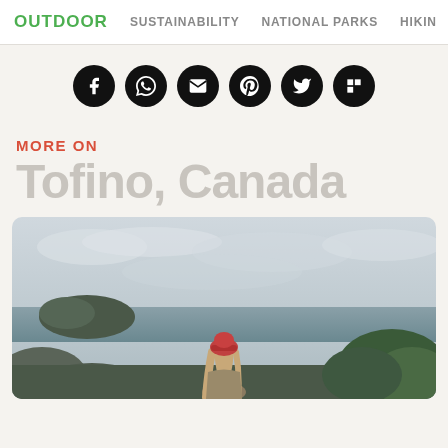OUTDOOR | SUSTAINABILITY | NATIONAL PARKS | HIKING
[Figure (infographic): Six social sharing buttons in black circles: Facebook, WhatsApp, Email, Pinterest, Twitter, Flipboard]
MORE ON
Tofino, Canada
[Figure (photo): Person with red beanie hat and long blonde hair seen from behind, standing on a rocky coastal viewpoint in Tofino, Canada, with dramatic cloudy sky, rocky island in the sea, and green vegetation]